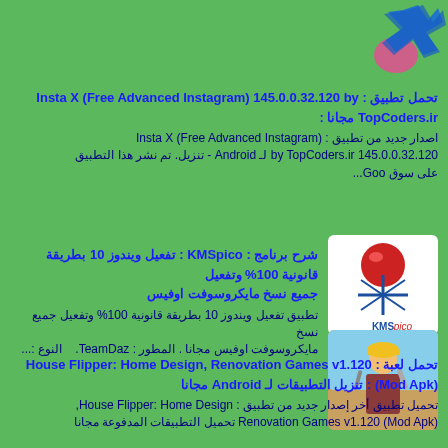[Figure (logo): Insta X logo with stylized X in blue and pink on green background, top right corner]
تحميل تطبيق : Insta X (Free Advanced Instagram) 145.0.0.32.120 by TopCoders.ir مجانا
اصدار جديد من تطبيق : Insta X (Free Advanced Instagram) 145.0.0.32.120 by TopCoders.ir لـ Android - تنزيل. تم نشر هذا التطبيق على سوق Goo...
[Figure (logo): KMSpico logo - red ball and blue star with KMSpico text on white background]
شرح برنامج : KMSpico : تفعيل ويندوز 10 بطريقة قانونية 100% وتفعيل جميع نسخ مايكروسوفت اوفيس
تطبيق تفعيل ويندوز 10 بطريقة قانونية 100% وتفعيل جميع نسخ مايكروسوفت اوفيس مجانا . المطور : TeamDaz. النوع :...
[Figure (photo): House Flipper game image - man with hard hat and tools, game artwork]
تحمل لعبة : House Flipper: Home Design, Renovation Games v1.120 (Mod Apk) : تنزيل التطبيقات لـ Android مجانا
تحميل تطبيق أخر إصدار جديد من تطبيق : House Flipper: Home Design, Renovation Games v1.120 (Mod Apk) تحميل التطبيقات المدفوعة مجانا